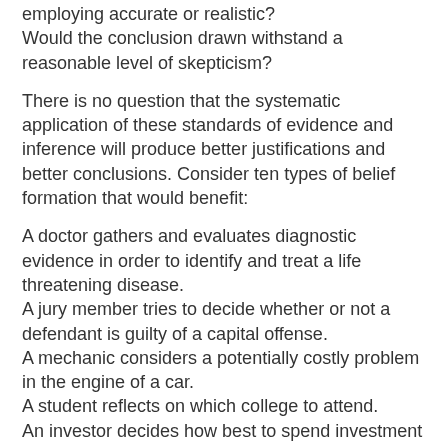employing accurate or realistic? Would the conclusion drawn withstand a reasonable level of skepticism?
There is no question that the systematic application of these standards of evidence and inference will produce better justifications and better conclusions. Consider ten types of belief formation that would benefit:
A doctor gathers and evaluates diagnostic evidence in order to identify and treat a life threatening disease.
A jury member tries to decide whether or not a defendant is guilty of a capital offense.
A mechanic considers a potentially costly problem in the engine of a car.
A student reflects on which college to attend.
An investor decides how best to spend investment capitol on the stock market.
A couple tries to buy a house that best suits their various needs.
A wife considers what appears to be evidence that her husband is cheating.